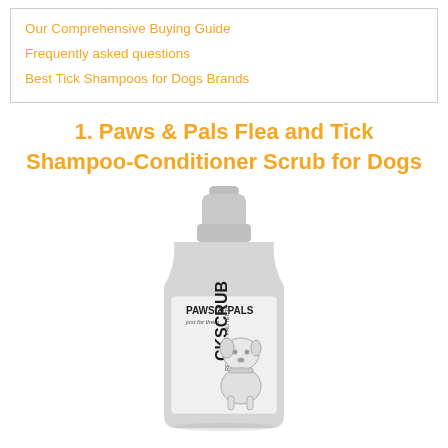Our Comprehensive Buying Guide
Frequently asked questions
Best Tick Shampoos for Dogs Brands
1. Paws & Pals Flea and Tick Shampoo-Conditioner Scrub for Dogs
[Figure (photo): A grey/silver bottle of Paws & Pals Flea and Tick Scrub shampoo-conditioner for dogs, with a pump cap, labeled 'PAWS & PALS just for them' and 'CK SCRUB RELIEVES - PROTECTS' with an illustration of a dog on the label.]